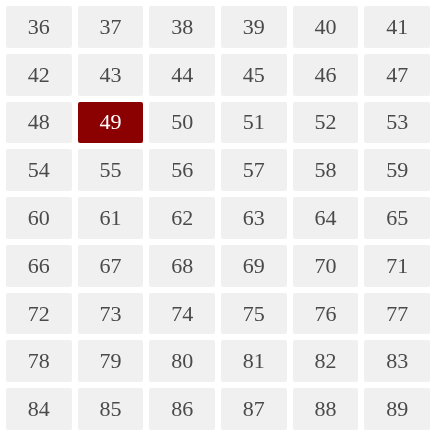| 36 | 37 | 38 | 39 | 40 | 41 |
| 42 | 43 | 44 | 45 | 46 | 47 |
| 48 | 49 | 50 | 51 | 52 | 53 |
| 54 | 55 | 56 | 57 | 58 | 59 |
| 60 | 61 | 62 | 63 | 64 | 65 |
| 66 | 67 | 68 | 69 | 70 | 71 |
| 72 | 73 | 74 | 75 | 76 | 77 |
| 78 | 79 | 80 | 81 | 82 | 83 |
| 84 | 85 | 86 | 87 | 88 | 89 |